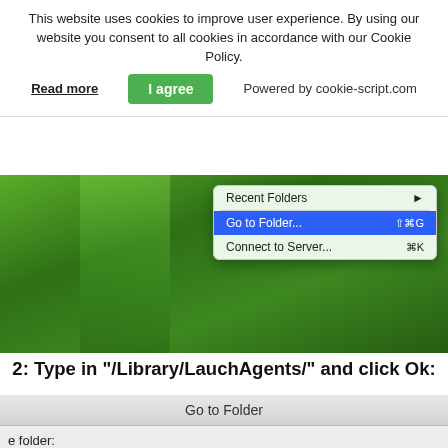This website uses cookies to improve user experience. By using our website you consent to all cookies in accordance with our Cookie Policy.
Read more   I agree   Powered by cookie-script.com
[Figure (screenshot): macOS Finder Go menu showing Recent Folders, Go to Folder... (⇧⌘G highlighted in blue), and Connect to Server... (⌘K), over a green grass background]
2: Type in "/Library/LauchAgents/" and click Ok:
[Figure (screenshot): macOS 'Go to Folder' dialog showing title bar 'Go to Folder', partial text 'e folder:' label, input field containing '/LaunchAgents', and Cancel button with blue Go button]